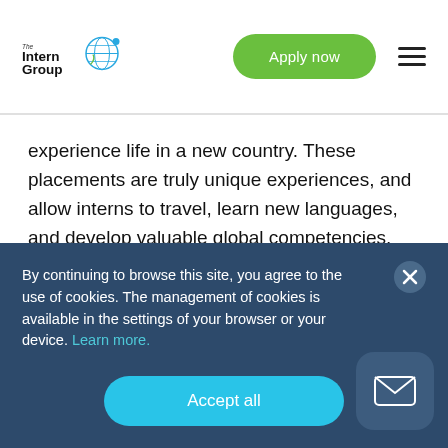The Intern Group | Apply now
experience life in a new country. These placements are truly unique experiences, and allow interns to travel, learn new languages, and develop valuable global competencies.
Life as a graduate intern
By continuing to browse this site, you agree to the use of cookies. The management of cookies is available in the settings of your browser or your device. Learn more.
Accept all